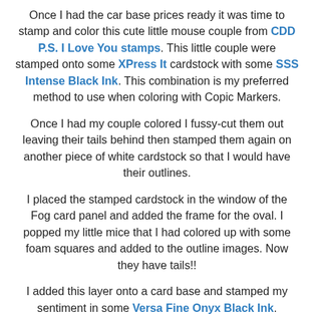Once I had the car base prices ready it was time to stamp and color this cute little mouse couple from CDD P.S. I Love You stamps. This little couple were stamped onto some XPress It cardstock with some SSS Intense Black Ink. This combination is my preferred method to use when coloring with Copic Markers.
Once I had my couple colored I fussy-cut them out leaving their tails behind then stamped them again on another piece of white cardstock so that I would have their outlines.
I placed the stamped cardstock in the window of the Fog card panel and added the frame for the oval. I popped my little mice that I had colored up with some foam squares and added to the outline images. Now they have tails!!
I added this layer onto a card base and stamped my sentiment in some Versa Fine Onyx Black Ink.
I added a few dots with a black multilines and adhered the heart to the frame. To finish the card off I gave the heart some spark with some Clear Wink of Stella and added